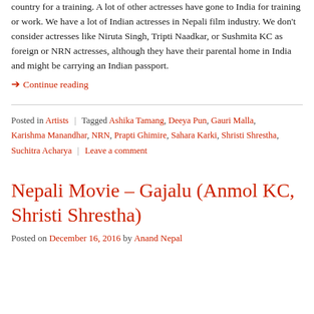country for a training. A lot of other actresses have gone to India for training or work. We have a lot of Indian actresses in Nepali film industry. We don't consider actresses like Niruta Singh, Tripti Naadkar, or Sushmita KC as foreign or NRN actresses, although they have their parental home in India and might be carrying an Indian passport.
➔ Continue reading
Posted in Artists | Tagged Ashika Tamang, Deeya Pun, Gauri Malla, Karishma Manandhar, NRN, Prapti Ghimire, Sahara Karki, Shristi Shrestha, Suchitra Acharya | Leave a comment
Nepali Movie – Gajalu (Anmol KC, Shristi Shrestha)
Posted on December 16, 2016 by Anand Nepal